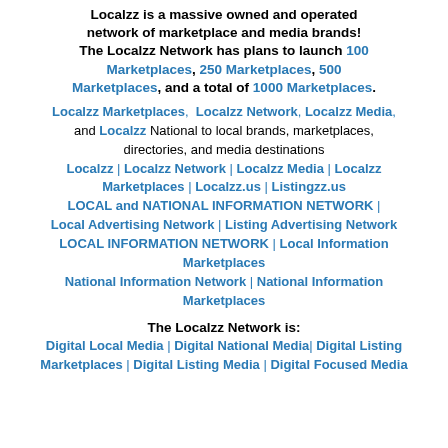Localzz is a massive owned and operated network of marketplace and media brands! The Localzz Network has plans to launch 100 Marketplaces, 250 Marketplaces, 500 Marketplaces, and a total of 1000 Marketplaces.
Localzz Marketplaces, Localzz Network, Localzz Media, and Localzz National to local brands, marketplaces, directories, and media destinations Localzz | Localzz Network | Localzz Media | Localzz Marketplaces | Localzz.us | Listingzz.us LOCAL and NATIONAL INFORMATION NETWORK | Local Advertising Network | Listing Advertising Network LOCAL INFORMATION NETWORK | Local Information Marketplaces National Information Network | National Information Marketplaces
The Localzz Network is:
Digital Local Media | Digital National Media | Digital Listing Marketplaces | Digital Listing Media | Digital Focused Media